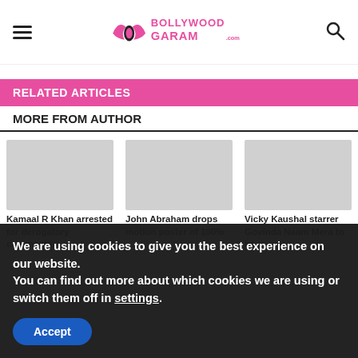Bollywood Garam
RELATED ARTICLES
MORE FROM AUTHOR
[Figure (photo): Placeholder image for Kamaal R Khan article]
Kamaal R Khan arrested for derogatory comments
[Figure (photo): Placeholder image for John Abraham article]
John Abraham drops motion poster of 100%
[Figure (photo): Placeholder image for Vicky Kaushal article]
Vicky Kaushal starrer Govinda Naam Mera to be
We are using cookies to give you the best experience on our website.
You can find out more about which cookies we are using or switch them off in settings.
Accept